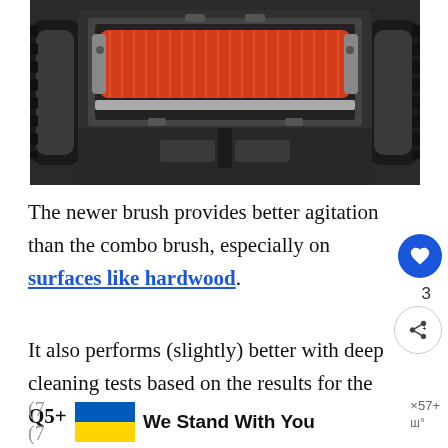[Figure (photo): Underside of a robot vacuum cleaner showing the brush module with a red/orange rubber brush roll, black housing, side wheels, and internal components visible from below]
The newer brush provides better agitation than the combo brush, especially on surfaces like hardwood.
It also performs (slightly) better with deep cleaning tests based on the results for the Q5+
[Figure (infographic): Advertisement banner: Ukrainian flag on left, text 'We Stand With You', dismiss button with x57+ label]